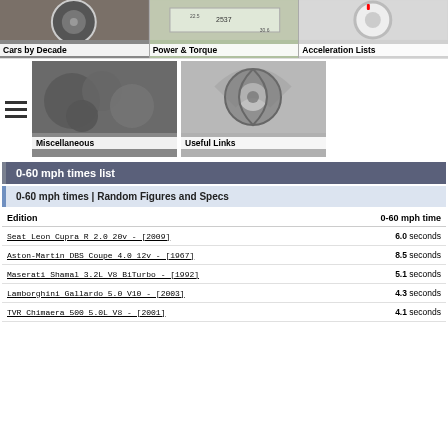[Figure (photo): Cars by Decade - motorcycle wheel photo]
[Figure (photo): Power & Torque - speedometer/gauge chart photo]
[Figure (photo): Acceleration Lists - white wheel/hub photo]
[Figure (photo): Miscellaneous - nuts and bolts photo]
[Figure (photo): Useful Links - timing chain and sprocket photo]
0-60 mph times list
0-60 mph times | Random Figures and Specs
| Edition | 0-60 mph time |
| --- | --- |
| Seat Leon Cupra R 2.0 20v - [2009] | 6.0 seconds |
| Aston-Martin DBS Coupe 4.0 12v - [1967] | 8.5 seconds |
| Maserati Shamal 3.2L V8 BiTurbo - [1992] | 5.1 seconds |
| Lamborghini Gallardo 5.0 V10 - [2003] | 4.3 seconds |
| TVR Chimaera 500 5.0L V8 - [2001] | 4.1 seconds |